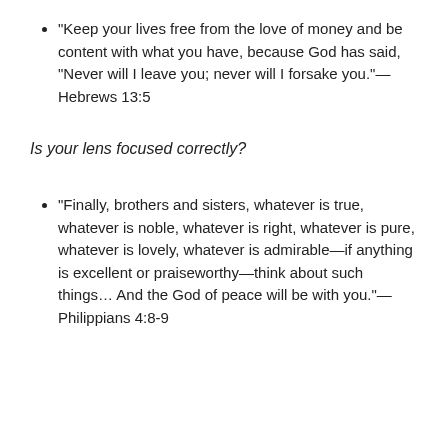“Keep your lives free from the love of money and be content with what you have, because God has said, “Never will I leave you; never will I forsake you.”—Hebrews 13:5
Is your lens focused correctly?
“Finally, brothers and sisters, whatever is true, whatever is noble, whatever is right, whatever is pure, whatever is lovely, whatever is admirable—if anything is excellent or praiseworthy—think about such things… And the God of peace will be with you.”—Philippians 4:8-9